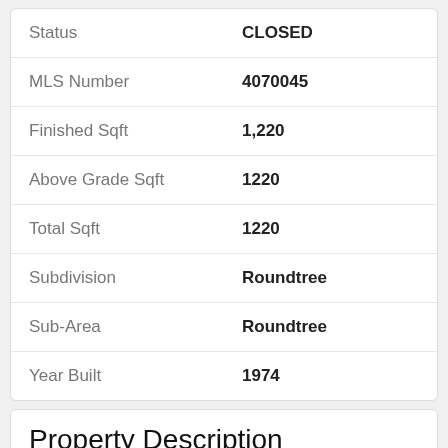| Field | Value |
| --- | --- |
| Status | CLOSED |
| MLS Number | 4070045 |
| Finished Sqft | 1,220 |
| Above Grade Sqft | 1220 |
| Total Sqft | 1220 |
| Subdivision | Roundtree |
| Sub-Area | Roundtree |
| Year Built | 1974 |
Property Description
Welcome to this adorable 2 story 2 bed/2 bath